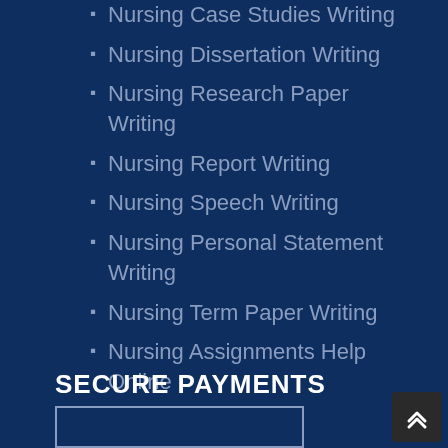Nursing Case Studies Writing
Nursing Dissertation Writing
Nursing Research Paper Writing
Nursing Report Writing
Nursing Speech Writing
Nursing Personal Statement Writing
Nursing Term Paper Writing
Nursing Assignments Help Online
SECURE PAYMENTS